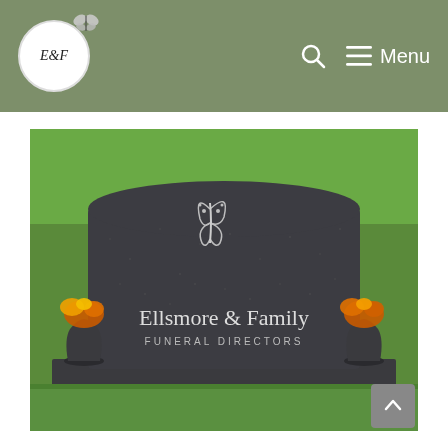E&F  🔍  ☰ Menu
[Figure (photo): Photo of a dark granite memorial headstone with a butterfly engraving, flanked by two black vases with orange and yellow flowers, with green grass in the background. The stone reads 'Ellsmore & Family FUNERAL DIRECTORS'.]